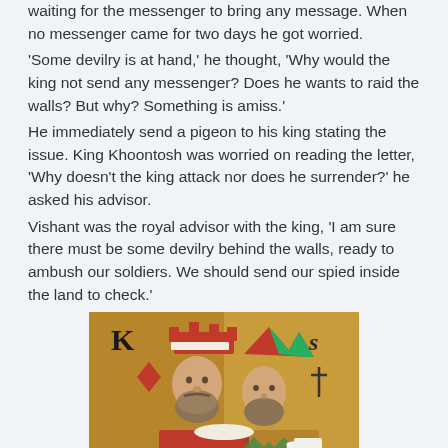waiting for the messenger to bring any message. When no messenger came for two days he got worried.
'Some devilry is at hand,' he thought, 'Why would the king not send any messenger? Does he wants to raid the walls? But why? Something is amiss.'
He immediately send a pigeon to his king stating the issue. King Khoontosh was worried on reading the letter, 'Why doesn't the king attack nor does he surrender?' he asked his advisor.
Vishant was the royal advisor with the king, 'I am sure there must be some devilry behind the walls, ready to ambush our soldiers. We should send our spied inside the land to check.'
[Figure (illustration): A painting depicting a king of diamonds playing card figure — a bearded king wearing a red crown and royal robes, shown with a jester figure. The banner at the bottom reads 'true fool'. Gold background. Medieval style illustration.]